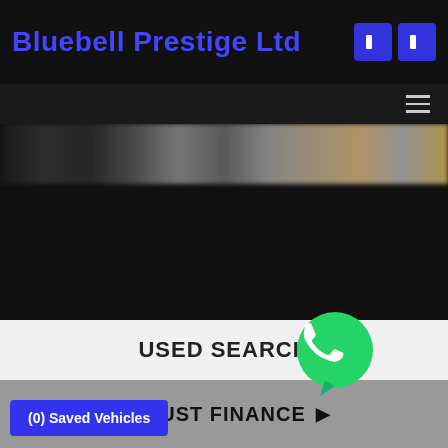Bluebell Prestige Ltd
[Figure (screenshot): Dark hero banner area showing a blurred car strip at top, dark background below, hamburger menu icon in top-right of nav bar]
USED SEARCH
ADJUST FINANCE
[Figure (logo): WhatsApp green circle logo with phone handset icon]
(0) Saved Vehicles